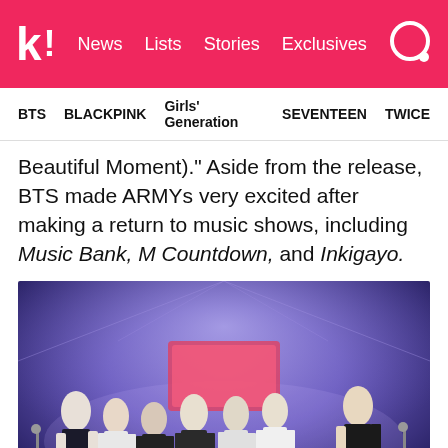k! | News | Lists | Stories | Exclusives
BTS | BLACKPINK | Girls' Generation | SEVENTEEN | TWICE
Beautiful Moment).” Aside from the release, BTS made ARMYs very excited after making a return to music shows, including Music Bank, M Countdown, and Inkigayo.
[Figure (photo): BTS group of seven members posing on a purple-lit stage, wearing black and white outfits]